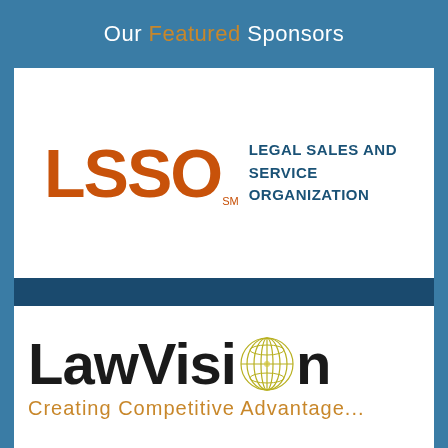Our Featured Sponsors
[Figure (logo): LSSO Legal Sales and Service Organization logo — orange LSSO letters with SM mark and dark blue tagline text]
[Figure (logo): LawVision logo — large black bold LawVision text with a golden globe graphic replacing the 'o' in Vision, and an orange subtitle beginning 'Creating Competitive Advantage']